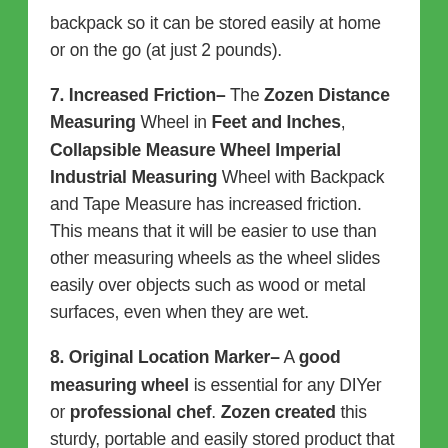backpack so it can be stored easily at home or on the go (at just 2 pounds).
7. Increased Friction- The Zozen Distance Measuring Wheel in Feet and Inches, Collapsible Measure Wheel Imperial Industrial Measuring Wheel with Backpack and Tape Measure has increased friction. This means that it will be easier to use than other measuring wheels as the wheel slides easily over objects such as wood or metal surfaces, even when they are wet.
8. Original Location Marker- A good measuring wheel is essential for any DIYer or professional chef. Zozen created this sturdy, portable and easily stored product that measures in both feet